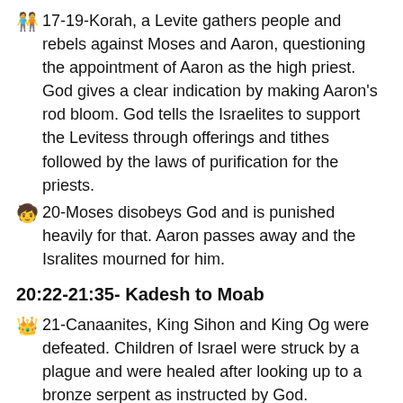🧑‍🤝‍🧑 17-19-Korah, a Levite gathers people and rebels against Moses and Aaron, questioning the appointment of Aaron as the high priest. God gives a clear indication by making Aaron's rod bloom. God tells the Israelites to support the Levitess through offerings and tithes followed by the laws of purification for the priests.
🧒 20-Moses disobeys God and is punished heavily for that. Aaron passes away and the Isralites mourned for him.
20:22-21:35- Kadesh to Moab
👑 21-Canaanites, King Sihon and King Og were defeated. Children of Israel were struck by a plague and were healed after looking up to a bronze serpent as instructed by God.
🏇 22-24- The story of how a pagan prophet Balaam listens to the God of Israel and blesses the Israelites instead of cursing them.
🏺 25-The Israelites again commit a sin against the lord and